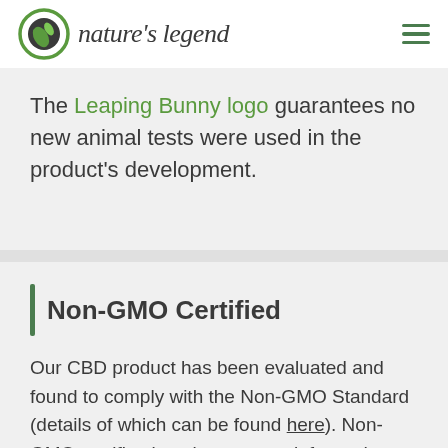[Figure (logo): Nature's Legend logo with green circular leaf icon and brand name in italic serif font]
The Leaping Bunny logo guarantees no new animal tests were used in the product's development.
Non-GMO Certified
Our CBD product has been evaluated and found to comply with the Non-GMO Standard (details of which can be found here). Non-GMO certification gives you an informed choice as to whether or not you want to consume genetically modified organisms.